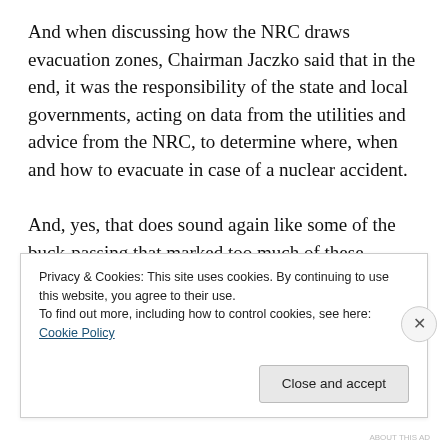And when discussing how the NRC draws evacuation zones, Chairman Jaczko said that in the end, it was the responsibility of the state and local governments, acting on data from the utilities and advice from the NRC, to determine where, when and how to evacuate in case of a nuclear accident.
And, yes, that does sound again like some of the buck-passing that marked too much of these interviews, but it is also a roadmap for a possible detour around a recalcitrant or captured federal agency. If activists feel shut out of the
Privacy & Cookies: This site uses cookies. By continuing to use this website, you agree to their use.
To find out more, including how to control cookies, see here: Cookie Policy
Close and accept